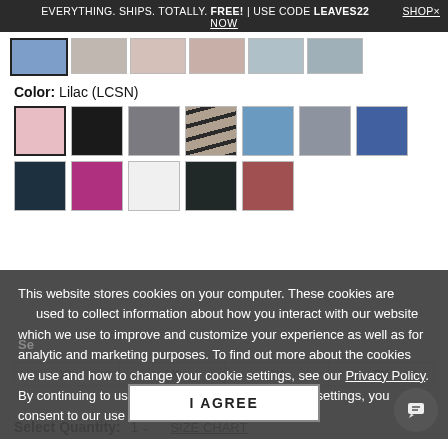EVERYTHING. SHIPS. TOTALLY. FREE! | USE CODE LEAVES22   SHOP×
NOW
[Figure (photo): Row of clothing product thumbnail images]
Color: Lilac (LCSN)
[Figure (other): Color swatch grid: lilac, black, grey, stripe, medium blue, light grey, dark blue, floral dark, purple, white, yellow floral, red floral]
This website stores cookies on your computer. These cookies are used to collect information about how you interact with our website which we use to improve and customize your experience as well as for analytic and marketing purposes. To find out more about the cookies we use and how to change your cookie settings, see our Privacy Policy. By continuing to use this site without changing your settings, you consent to our use of cookies.
| XL | 1X | 2X | 3X |
| --- | --- | --- | --- |
|  |
I AGREE
Select Quantity:
1  ∨   SIZE CHART